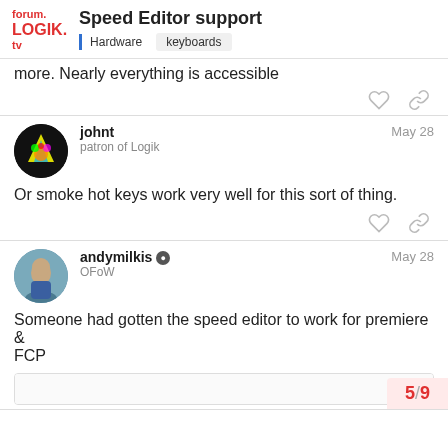forum. LOGIK. tv — Speed Editor support — Hardware keyboards
more. Nearly everything is accessible
johnt — patron of Logik — May 28
Or smoke hot keys work very well for this sort of thing.
andymilkis (mod) — OFoW — May 28
Someone had gotten the speed editor to work for premiere & FCP
5 / 9